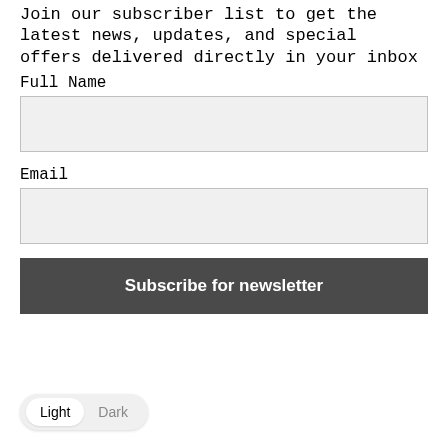Join our subscriber list to get the latest news, updates, and special offers delivered directly in your inbox
Full Name
[Figure (other): Text input box for Full Name field]
Email
[Figure (other): Text input box for Email field]
[Figure (other): Subscribe for newsletter button — dark grey background with white bold text]
[Figure (other): Light/Dark toggle widget at bottom left — pill shaped with Light selected (white) and Dark unselected (grey)]